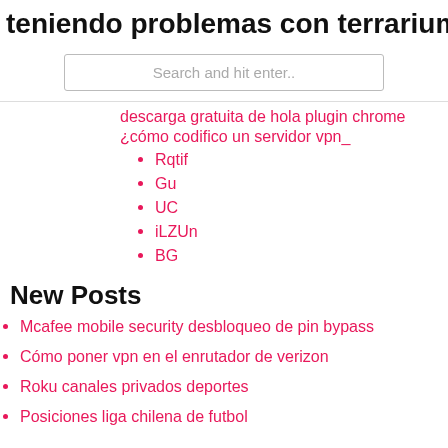teniendo problemas con terrarium tv
Search and hit enter..
descarga gratuita de hola plugin chrome
¿cómo codifico un servidor vpn_
Rqtif
Gu
UC
iLZUn
BG
New Posts
Mcafee mobile security desbloqueo de pin bypass
Cómo poner vpn en el enrutador de verizon
Roku canales privados deportes
Posiciones liga chilena de futbol